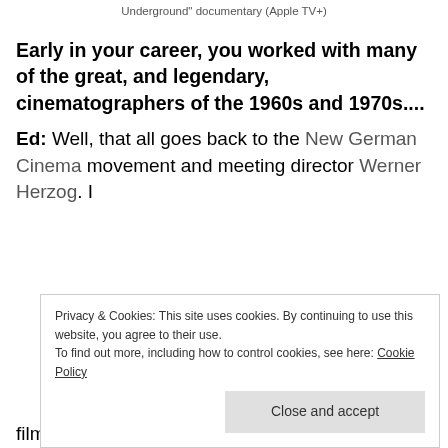Underground" documentary (Apple TV+)
Early in your career, you worked with many of the great, and legendary, cinematographers of the 1960s and 1970s....
Ed: Well, that all goes back to the New German Cinema movement and meeting director Werner Herzog. I
Privacy & Cookies: This site uses cookies. By continuing to use this website, you agree to their use.
To find out more, including how to control cookies, see here: Cookie Policy
Close and accept
films like My American Friend by Wim